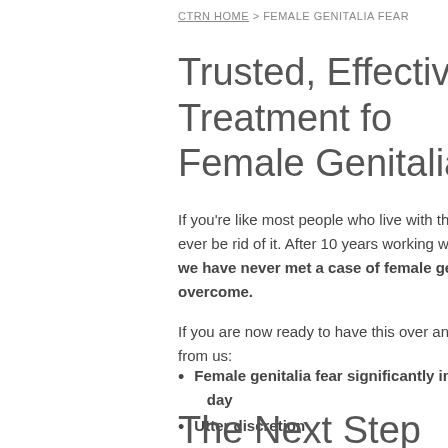CTRN HOME > FEMALE GENITALIA FEAR
Trusted, Effective Treatment for Female Genitalia Fear.
If you're like most people who live with this fear, you probably wo... ever be rid of it. After 10 years working with people with the mos... we have never met a case of female genitalia fear that could not be overcome.
If you are now ready to have this over and done with, here's wha... from us:
Female genitalia fear significantly improved, maybe ev... day
Utter discretion
Experience with clients in over 70 countries
The Next Step